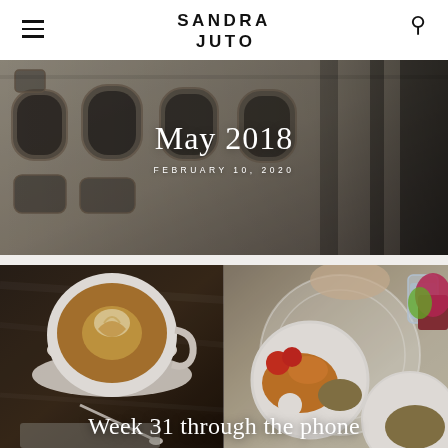SANDRA JUTO
[Figure (photo): Architecture photo of old stone building facade viewed from below, with arched windows and ornate details, serving as background for blog post titled May 2018]
May 2018
FEBRUARY 10, 2020
[Figure (photo): Two-panel photo: left shows a latte coffee cup from above on dark wooden table with laptop; right shows overhead view of food plates with chicken, lentils, tomatoes, and yogurt on white ornate garden table with a glass of water and pink/green plant]
Week 31 through the phone